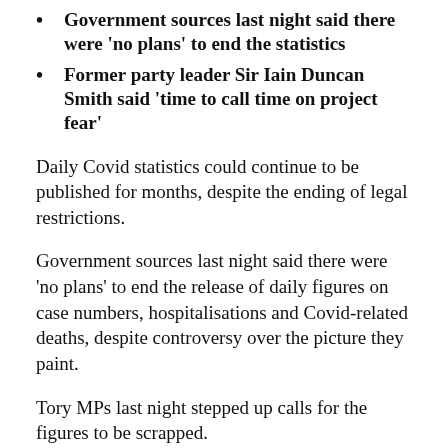Government sources last night said there were 'no plans' to end the statistics
Former party leader Sir Iain Duncan Smith said 'time to call time on project fear'
Daily Covid statistics could continue to be published for months, despite the ending of legal restrictions.
Government sources last night said there were 'no plans' to end the release of daily figures on case numbers, hospitalisations and Covid-related deaths, despite controversy over the picture they paint.
Tory MPs last night stepped up calls for the figures to be scrapped.
Former party leader Sir Iain Duncan Smith said it was